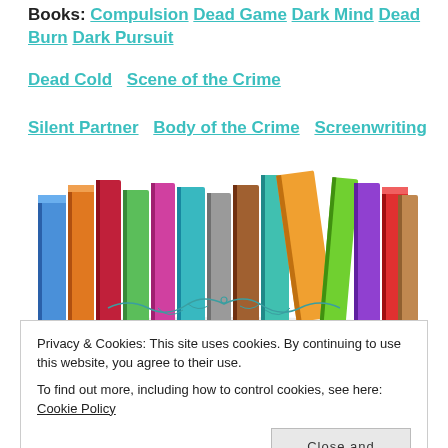Books: Compulsion  Dead Game  Dark Mind  Dead Burn  Dark Pursuit
Dead Cold  Scene of the Crime
Silent Partner  Body of the Crime  Screenwriting
[Figure (illustration): A row of colorful books standing upright, illustration style]
[Figure (illustration): Decorative teal flourish/ornament with tagline: We're addicted to selling your book.]
Privacy & Cookies: This site uses cookies. By continuing to use this website, you agree to their use.
To find out more, including how to control cookies, see here: Cookie Policy
Close and accept